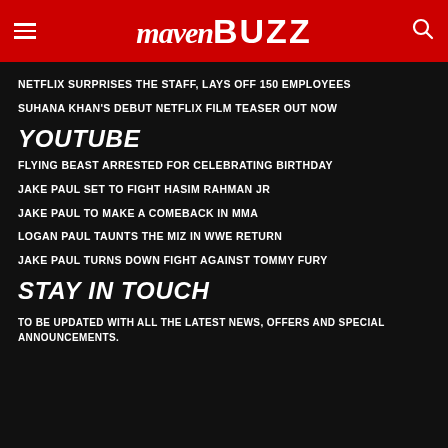Maven Buzz
NETFLIX SURPRISES THE STAFF, LAYS OFF 150 EMPLOYEES
SUHANA KHAN'S DEBUT NETFLIX FILM TEASER OUT NOW
YOUTUBE
FLYING BEAST ARRESTED FOR CELEBRATING BIRTHDAY
JAKE PAUL SET TO FIGHT HASIM RAHMAN JR
JAKE PAUL TO MAKE A COMEBACK IN MMA
LOGAN PAUL TAUNTS THE MIZ IN WWE RETURN
JAKE PAUL TURNS DOWN FIGHT AGAINST TOMMY FURY
STAY IN TOUCH
TO BE UPDATED WITH ALL THE LATEST NEWS, OFFERS AND SPECIAL ANNOUNCEMENTS.